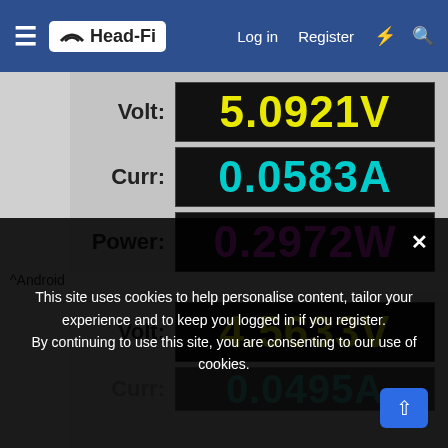Head-Fi | Log in | Register
[Figure (screenshot): Digital meter display showing Volt: 5.0921V (yellow), Curr: 0.0583A (cyan), Power: 0.2972W (magenta) on black LCD-style panels]
^Android
[Figure (screenshot): Digital meter display showing Volt: 4.5633V (yellow), Curr: 0.0495A (cyan, partially visible), Power: partially visible (magenta)]
^PC
This site uses cookies to help personalise content, tailor your experience and to keep you logged in if you register. By continuing to use this site, you are consenting to our use of cookies.